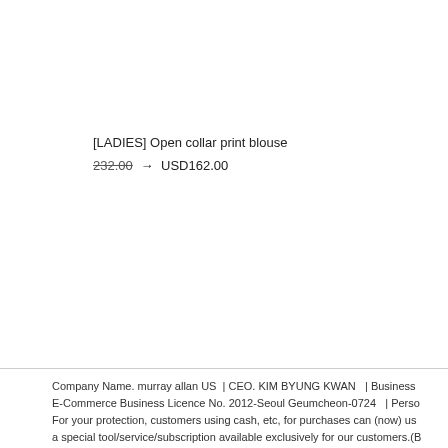[LADIES] Open collar print blouse
232.00 → USD162.00
Company Name. murray allan US  | CEO. KIM BYUNG KWAN  | Business E-Commerce Business Licence No. 2012-Seoul Geumcheon-0724  | Perso For your protection, customers using cash, etc, for purchases can (now) us a special tool/service/subscription available exclusively for our customers.(B